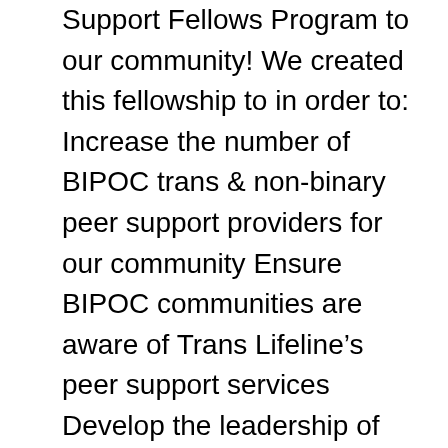Support Fellows Program to our community! We created this fellowship to in order to: Increase the number of BIPOC trans & non-binary peer support providers for our community Ensure BIPOC communities are aware of Trans Lifeline's peer support services Develop the leadership of BIPOC trans people Each fellow was paired BIPOC Trans Lifeline staff member with a passion for training & developing trans and nonbinary peer support providers. Through this mentorship, each fellow has been supporting their community both locally,